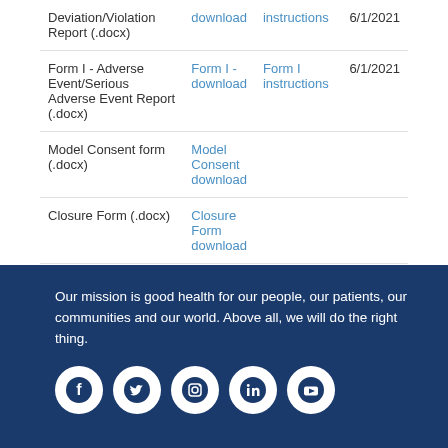| Form Name | Download | Instructions | Date |
| --- | --- | --- | --- |
| Deviation/Violation Report (.docx) | download | instructions | 6/1/2021 |
| Form I - Adverse Event/Serious Adverse Event Report (.docx) | Form I - download | Form I instructions | 6/1/2021 |
| Model Consent form (.docx) | Model Consent download |  |  |
| Closure Form (.docx) | Closure Form download |  |  |
Our mission is good health for our people, our patients, our communities and our world. Above all, we will do the right thing.
[Figure (infographic): Social media icons: Facebook, Twitter, Instagram, LinkedIn, YouTube]